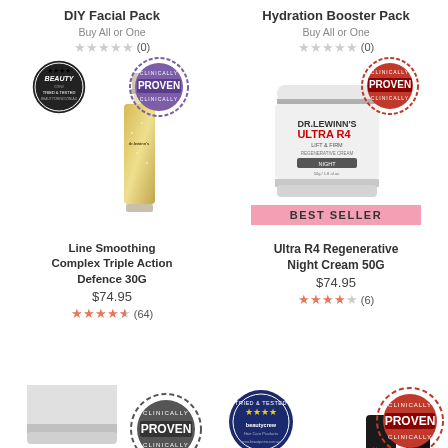DIY Facial Pack
Buy All or One
(0)
[Figure (photo): Dr. LeWinn's serum bottle with Beauty Crew Tried & Tested badge and Clinically Proven stamp]
Line Smoothing Complex Triple Action Defence 30G
$74.95
(64)
Hydration Booster Pack
Buy All or One
(0)
[Figure (photo): Dr. LeWinn's Ultra R4 Regenerative Night Cream 50G jar with Clinically Proven stamp and Best Seller banner]
Ultra R4 Regenerative Night Cream 50G
$74.95
(6)
[Figure (photo): Partial product image with Clinically Proven stamp - bottom left]
[Figure (photo): Partial product images with Tried & Tested badge and Clinically Proven stamp - bottom right]